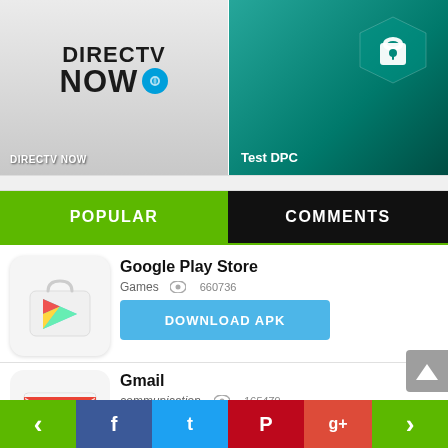[Figure (screenshot): DIRECTV NOW banner with logo on grey background]
[Figure (screenshot): Test DPC app banner on teal/green background with lock icon]
POPULAR
COMMENTS
[Figure (logo): Google Play Store app icon]
Google Play Store
Games  👁 660736
DOWNLOAD APK
[Figure (logo): Gmail app icon]
Gmail
communication  👁 165479
DOWNLOAD APK
<
f
t
P
g+
>